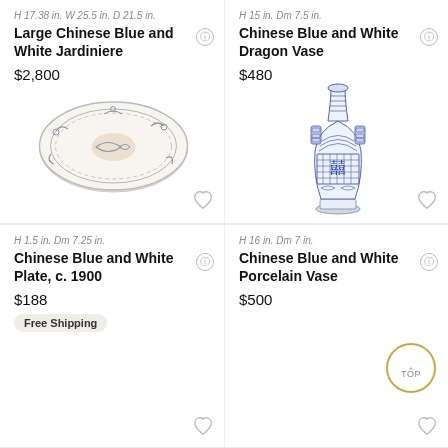H 17.38 in. W 25.5 in. D 21.5 in.
Large Chinese Blue and White Jardiniere
$2,800
[Figure (photo): Chinese blue and white oval plate/jardiniere viewed from above, decorated with fish and scroll motifs]
H 1.5 in. Dm 7.25 in.
Chinese Blue and White Plate, c. 1900
$188
Free Shipping
H 15 in. Dm 7.5 in.
Chinese Blue and White Dragon Vase
$480
[Figure (photo): Chinese blue and white porcelain vase with geometric and dragon motifs, double happiness character decoration]
H 16 in. Dm 7 in.
Chinese Blue and White Porcelain Vase
$500